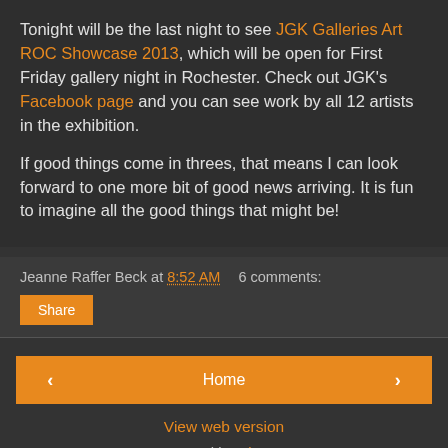Tonight will be the last night to see JGK Galleries Art ROC Showcase 2013, which will be open for First Friday gallery night in Rochester. Check out JGK's Facebook page and you can see work by all 12 artists in the exhibition.

If good things come in threes, that means I can look forward to one more bit of good news arriving. It is fun to imagine all the good things that might be!
Jeanne Raffer Beck at 8:52 AM   6 comments:
Share
Home | View web version | Powered by Blogger.